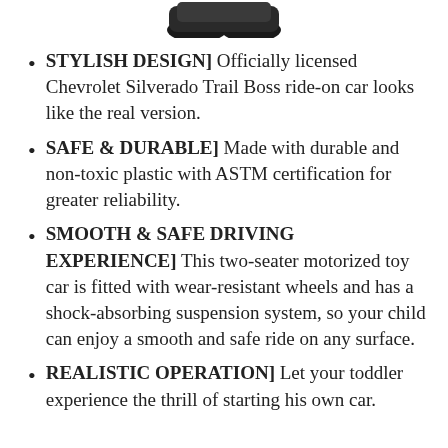[Figure (photo): Partial view of a black ride-on toy car (Chevrolet Silverado Trail Boss), showing the bottom/wheel area cropped at top of page.]
STYLISH DESIGN] Officially licensed Chevrolet Silverado Trail Boss ride-on car looks like the real version.
SAFE & DURABLE] Made with durable and non-toxic plastic with ASTM certification for greater reliability.
SMOOTH & SAFE DRIVING EXPERIENCE] This two-seater motorized toy car is fitted with wear-resistant wheels and has a shock-absorbing suspension system, so your child can enjoy a smooth and safe ride on any surface.
REALISTIC OPERATION] Let your toddler experience the thrill of starting his own car.